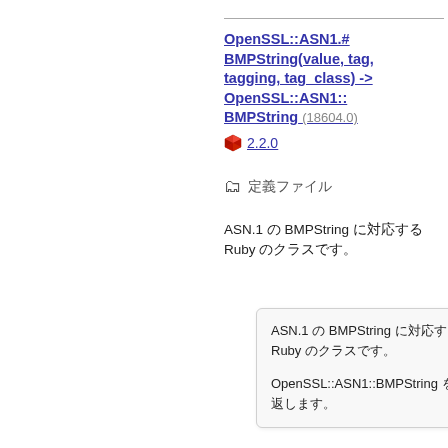OpenSSL::ASN1.#BMPString(value, tag, tagging, tag_class) -> OpenSSL::ASN1::BMPString (18604.0)
2.2.0
定義ファイル
ASN.1 の BMPString に対応する Ruby のクラスです。
ASN.1 の BMPString に対応する Ruby のクラスです。

OpenSSL::ASN1::BMPString を返します。